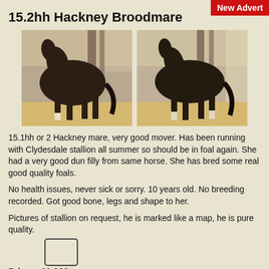15.2hh Hackney Broodmare
[Figure (photo): Two side-by-side photos of a dark brown Hackney mare standing in a stable with straw bedding and wooden fence/walls in the background.]
15.1hh or 2 Hackney mare, very good mover. Has been running with Clydesdale stallion all summer so should be in foal again. She had a very good dun filly from same horse. She has bred some real good quality foals.
No health issues, never sick or sorry. 10 years old. No breeding recorded. Got good bone, legs and shape to her.
Pictures of stallion on request, he is marked like a map, he is pure quality.
Price:  £1,800 ono